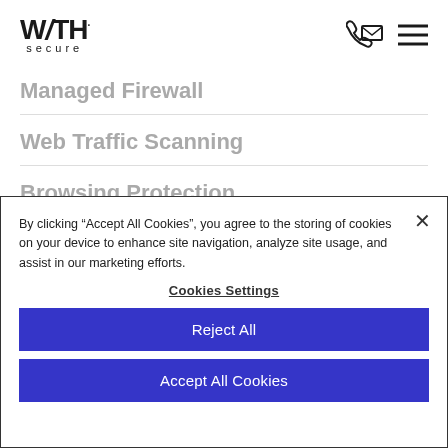[Figure (logo): WITH secure logo — stylized W/TH text above the word 'secure' in small caps, with phone+envelope icon and hamburger menu icon on the right]
Managed Firewall
Web Traffic Scanning
Browsing Protection
By clicking “Accept All Cookies”, you agree to the storing of cookies on your device to enhance site navigation, analyze site usage, and assist in our marketing efforts.
Cookies Settings
Reject All
Accept All Cookies